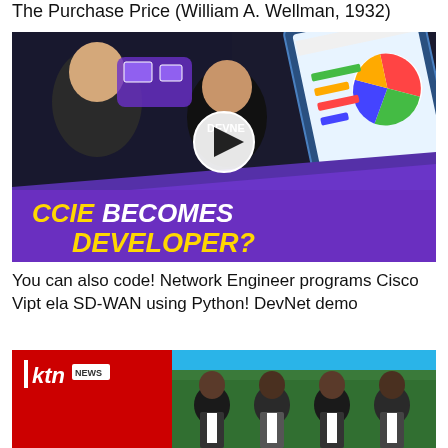The Purchase Price (William A. Wellman, 1932)
[Figure (screenshot): YouTube video thumbnail showing two men (one in a black DevNet t-shirt) with a tablet displaying dashboard charts on the right. Purple bottom banner reads 'CCIE BECOMES DEVELOPER?' in gold and white bold italic text. A white play button circle is centered on the image.]
You can also code! Network Engineer programs Cisco Viptela SD-WAN using Python! DevNet demo
[Figure (screenshot): KTN News thumbnail showing four men in suits standing in front of green foliage. Red KTN News logo badge in the top left corner on a red background. Blue background on the right side.]